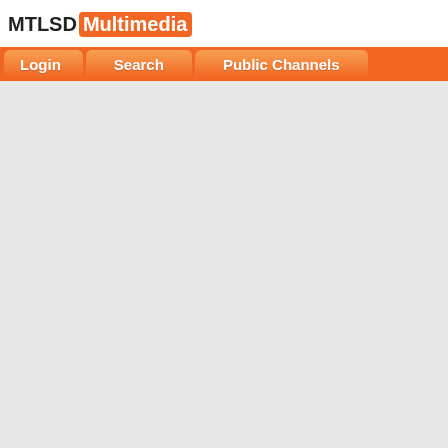MTLSD Multimedia
Login | Search | Public Channels